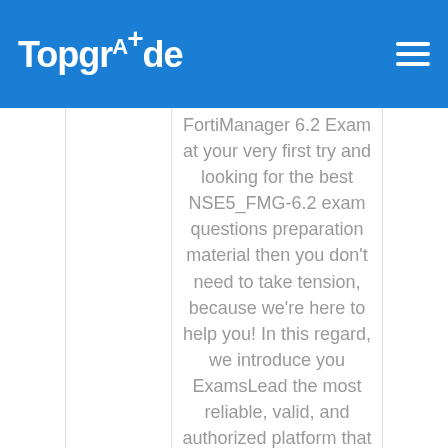TopgrAde
FortiManager 6.2 Exam at your very first try and looking for the best NSE5_FMG-6.2 exam questions preparation material then you don't need to take tension, because we're here to help you! In this regard, we introduce you ExamsLead the most reliable, valid, and authorized platform that provides you the